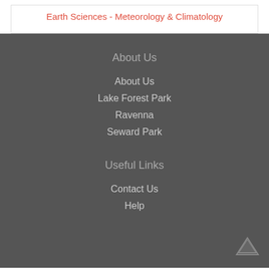Earth Sciences - Meteorology & Climatology
About Us
About Us
Lake Forest Park
Ravenna
Seward Park
Useful Links
Contact Us
Help